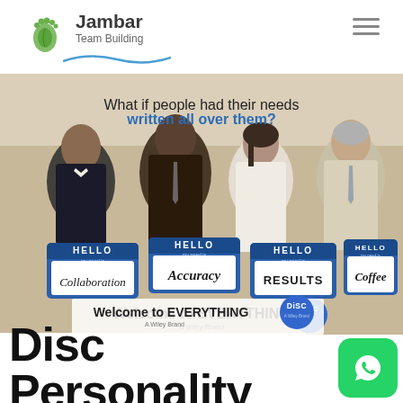Jambar Team Building
[Figure (photo): Promotional image for Everything DiSC featuring four business professionals with name tags showing their needs: Collaboration, Accuracy, Results, Coffee. Text reads 'What if people had their needs written all over them?' and 'Welcome to EVERYTHING DiSC - A Wiley Brand']
Disc Personality